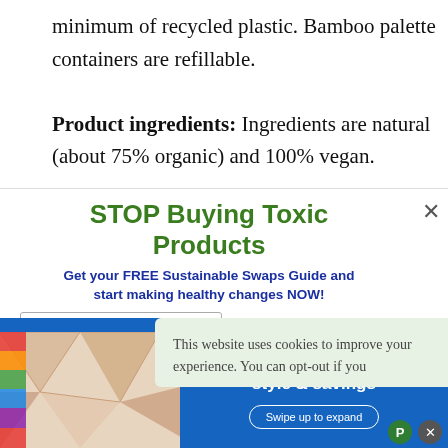minimum of recycled plastic. Bamboo palette containers are refillable.
Product ingredients: Ingredients are natural (about 75% organic) and 100% vegan.
[Figure (screenshot): Popup overlay with title 'STOP Buying Toxic Products' in green bold text, subtitle 'Get your FREE Sustainable Swaps Guide and start making healthy changes NOW!' in dark blue bold, email/first name input fields, close X button. Overlapping cookie consent banner: 'This website uses cookies to improve your experience. You can opt-out if you'. Bottom ad banner: 'Double major in style & savings' with Swipe up to expand button.]